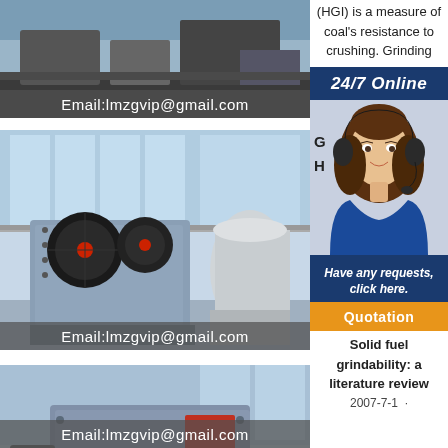[Figure (photo): Industrial crushing machine in a facility with Email:lmzgvip@gmail.com overlay]
[Figure (photo): Large jaw crusher machine with heavy flywheel in industrial hall with Email:lmzgvip@gmail.com overlay]
[Figure (photo): Large impact crusher machine in industrial facility with Email:lmzgvip@gmail.com overlay]
(HGI) is a measure of coal's resistance to crushing. Grinding
[Figure (photo): 24/7 Online customer service representative with headset]
Have any requests, click here.
Quotation
Solid fuel grindability: a literature review 2007-7-1 ·